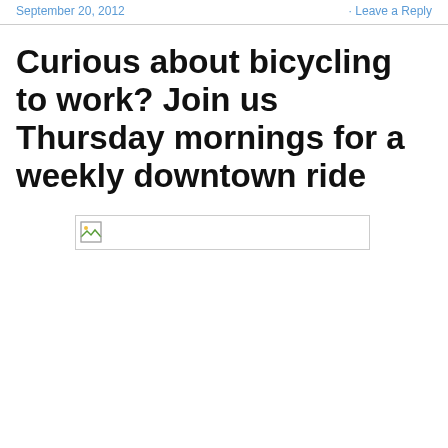September 20, 2012 · Leave a Reply
Curious about bicycling to work? Join us Thursday mornings for a weekly downtown ride
[Figure (photo): Broken/missing image placeholder thumbnail]